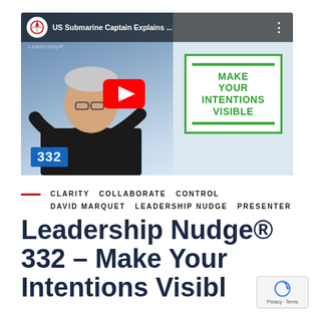[Figure (screenshot): YouTube video thumbnail showing a man in a dark sweater holding a sign that reads MAKE YOUR INTENTIONS VISIBLE in green text. Video title overlay reads 'US Submarine Captain Explains...' with a YouTube play button in the center. Number 332 appears in blue badge at bottom left. Channel logo visible top left.]
CLARITY   COLLABORATE   CONTROL
DAVID MARQUET   LEADERSHIP NUDGE   PRESENTER
Leadership Nudge® 332 – Make Your Intentions Visible